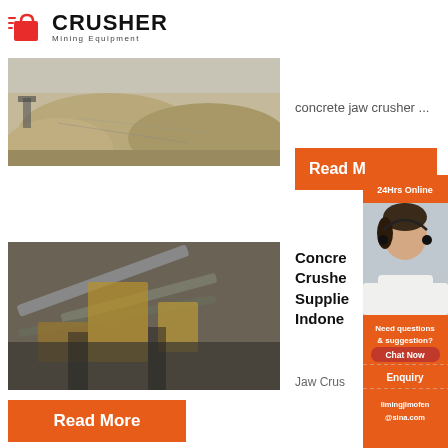[Figure (logo): Crusher Mining Equipment logo with red shopping bag icon and bold black CRUSHER text]
[Figure (photo): Aerial view of a sand/gravel mining pile with machinery]
concrete jaw crusher ...
Read M
[Figure (photo): Overhead view of industrial crusher/conveyor equipment at a mining site]
Concre Crushe Supplie Indone
Jaw Crus
Read More
[Figure (infographic): 24Hrs Online customer service widget with female agent with headset, Chat Now button, Enquiry section, and limingjlmofen@sina.com email]